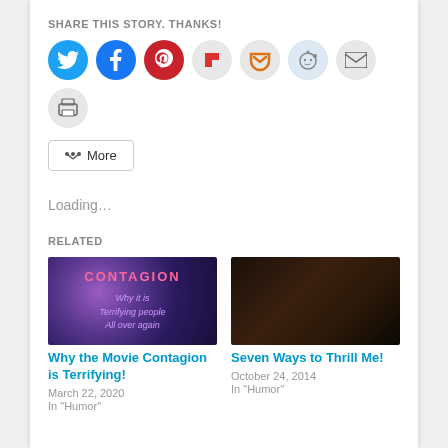SHARE THIS STORY. THANKS!
[Figure (infographic): Row of social sharing icon buttons: Twitter (blue circle), Facebook (blue circle), Pinterest (red circle), Flipboard (red-on-grey square), Pocket (orange-on-grey circle), Reddit (light blue circle), Email (grey circle), Print (grey circle)]
More
Loading...
RELATED
[Figure (photo): Movie poster style image for 'Contagion' with text: CONTAGION / Why it is / Terrifying people / All over again, on purple/dark background with bokeh]
[Figure (photo): Dark, moody image of two people in an intimate scene]
Why the Movie Contagion is Terrifying!
March 22, 2020
In "Humor"
Seven Ways to Thrill Me!
October 24, 2014
In "Humor"